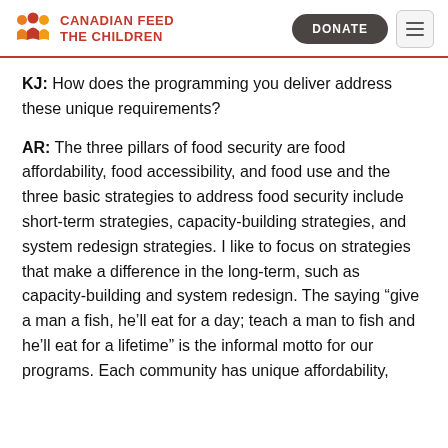CANADIAN FEED THE CHILDREN
KJ: How does the programming you deliver address these unique requirements?
AR: The three pillars of food security are food affordability, food accessibility, and food use and the three basic strategies to address food security include short-term strategies, capacity-building strategies, and system redesign strategies. I like to focus on strategies that make a difference in the long-term, such as capacity-building and system redesign. The saying “give a man a fish, he’ll eat for a day; teach a man to fish and he’ll eat for a lifetime” is the informal motto for our programs. Each community has unique affordability,